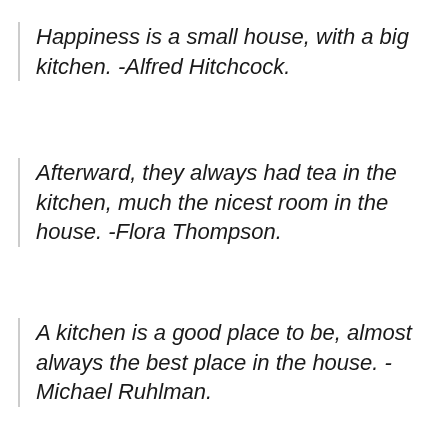Happiness is a small house, with a big kitchen. -Alfred Hitchcock.
Afterward, they always had tea in the kitchen, much the nicest room in the house. -Flora Thompson.
A kitchen is a good place to be, almost always the best place in the house. -Michael Ruhlman.